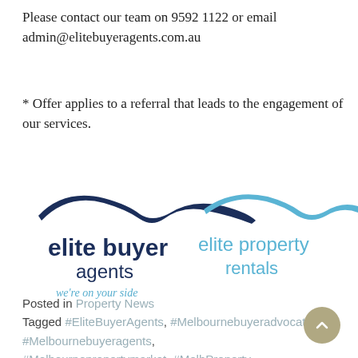Please contact our team on 9592 1122 or email admin@elitebuyeragents.com.au
* Offer applies to a referral that leads to the engagement of our services.
[Figure (logo): Two logos side by side: 'elite buyer agents' with tagline 'we're on your side' (left, dark blue) and 'elite property rentals' (right, light blue)]
Posted in Property News
Tagged #EliteBuyerAgents, #Melbournebuyeradvocates, #Melbournebuyeragents, #Melbournepropertymarket, #MelbProperty,